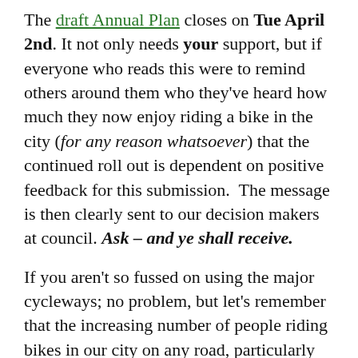The draft Annual Plan closes on Tue April 2nd. It not only needs your support, but if everyone who reads this were to remind others around them who they've heard how much they now enjoy riding a bike in the city (for any reason whatsoever) that the continued roll out is dependent on positive feedback for this submission.  The message is then clearly sent to our decision makers at council. Ask – and ye shall receive.
If you aren't so fussed on using the major cycleways; no problem, but let's remember that the increasing number of people riding bikes in our city on any road, particularly centrally,  is contributing to the weighting for a (safety improvements to which benefit all...